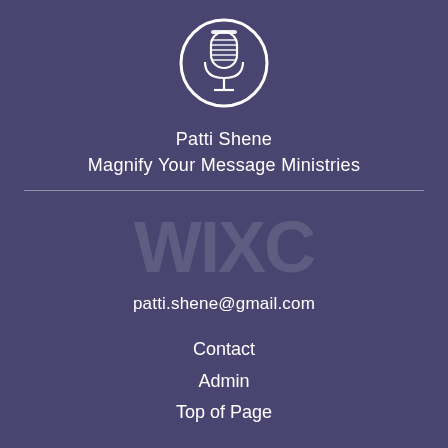[Figure (logo): White microphone icon inside a white circle on purple background]
Patti Shene
Magnify Your Message Ministries
patti.shene@gmail.com
Contact
Admin
Top of Page